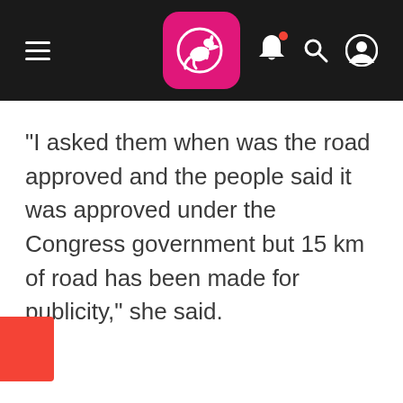Navigation bar with hamburger menu, kangaroo logo, bell notification, search, and user icons
"I asked them when was the road approved and the people said it was approved under the Congress government but 15 km of road has been made for publicity," she said.